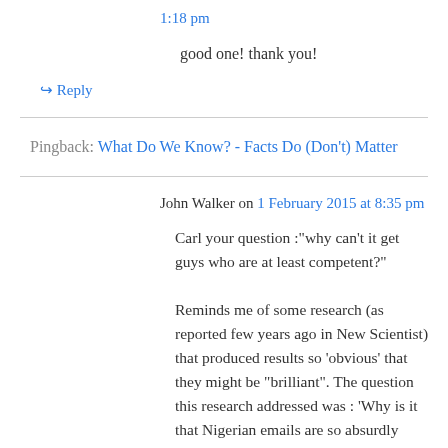1:18 pm
good one! thank you!
↳ Reply
Pingback: What Do We Know? - Facts Do (Don't) Matter
John Walker on 1 February 2015 at 8:35 pm
Carl your question :"why can’t it get guys who are at least competent?"
Reminds me of some research (as reported few years ago in New Scientist) that produced results so ‘obvious’ that they might be “brilliant”. The question this research addressed was : ‘Why is it that Nigerian emails are so absurdly